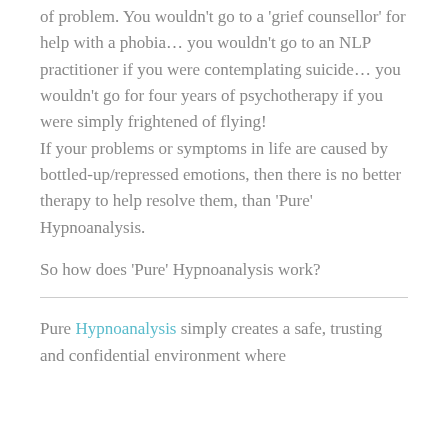of problem. You wouldn't go to a 'grief counsellor' for help with a phobia… you wouldn't go to an NLP practitioner if you were contemplating suicide… you wouldn't go for four years of psychotherapy if you were simply frightened of flying! If your problems or symptoms in life are caused by bottled-up/repressed emotions, then there is no better therapy to help resolve them, than 'Pure' Hypnoanalysis.
So how does 'Pure' Hypnoanalysis work?
Pure Hypnoanalysis simply creates a safe, trusting and confidential environment where